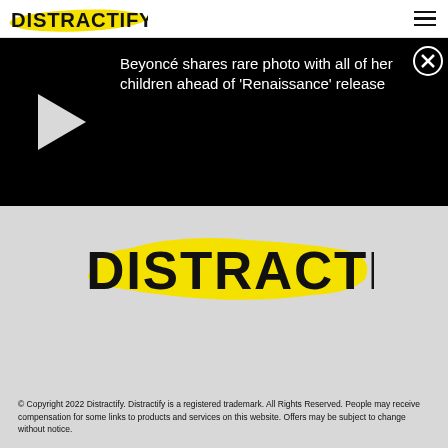DISTRACTIFY
[Figure (screenshot): Video player with black background showing play button and title: Beyoncé shares rare photo with all of her children ahead of 'Renaissance' release]
[Figure (logo): Large Distractify logo with yellow brushstroke background on gray]
© Copyright 2022 Distractify. Distractify is a registered trademark. All Rights Reserved. People may receive compensation for some links to products and services on this website. Offers may be subject to change without notice.